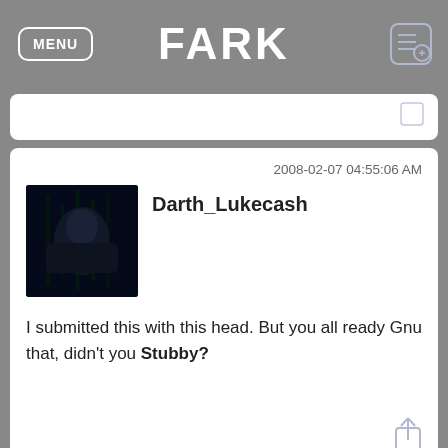FARK
2008-02-07 04:55:06 AM
Darth_Lukecash
I submitted this with this head. But you all ready Gnu that, didn't you Stubby?
2008-02-07 04:58:09 AM
drjekel_mrhyde
Columnist fired for plagiarizing blog on plagiarism to write column on plagiary. If only there were some sort of tag one